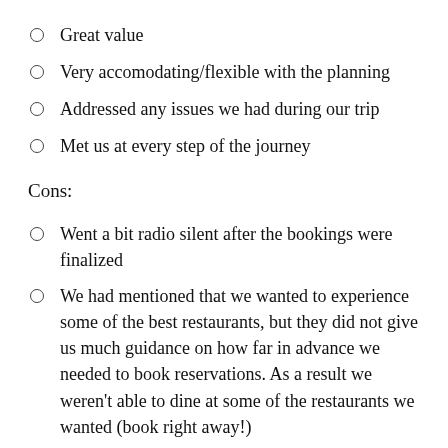Great value
Very accomodating/flexible with the planning
Addressed any issues we had during our trip
Met us at every step of the journey
Cons:
Went a bit radio silent after the bookings were finalized
We had mentioned that we wanted to experience some of the best restaurants, but they did not give us much guidance on how far in advance we needed to book reservations. As a result we weren't able to dine at some of the restaurants we wanted (book right away!)
The guides were a bit mixed. They were all clearly knowledgeable, but some were less polished (sitting around at the sites with long explanations that could have been done in the car or as we walk